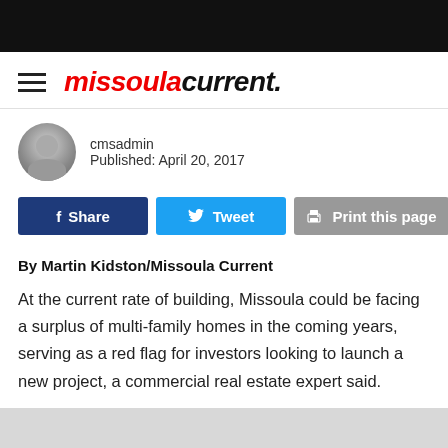missoula current.
cmsadmin
Published: April 20, 2017
Share  Tweet  Print this page
By Martin Kidston/Missoula Current
At the current rate of building, Missoula could be facing a surplus of multi-family homes in the coming years, serving as a red flag for investors looking to launch a new project, a commercial real estate expert said.